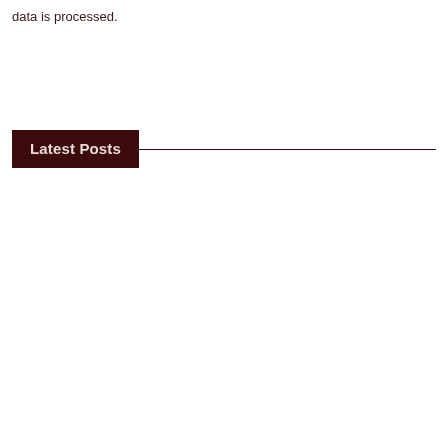data is processed.
Latest Posts